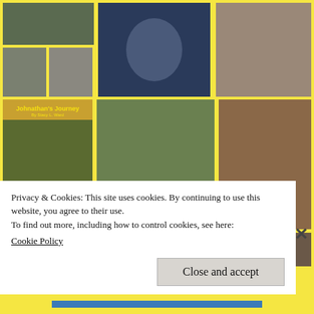[Figure (photo): Grid of photos: toddler in jacket, two toddlers, child at night with food, teenage girl, book cover 'Johnathan's Journey', two kids outside, child eating food, three partial photos at bottom]
Privacy & Cookies: This site uses cookies. By continuing to use this website, you agree to their use.
To find out more, including how to control cookies, see here:
Cookie Policy
Close and accept